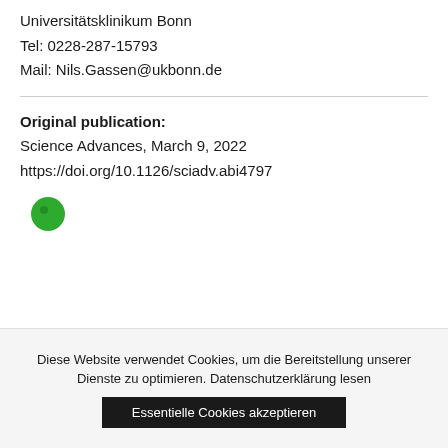Universitätsklinikum Bonn
Tel: 0228-287-15793
Mail: Nils.Gassen@ukbonn.de
Original publication: Science Advances, March 9, 2022
https://doi.org/10.1126/sciadv.abi4797
[Figure (other): Green circle icon]
Diese Website verwendet Cookies, um die Bereitstellung unserer Dienste zu optimieren. Datenschutzerklärung lesen
Essentielle Cookies akzeptieren